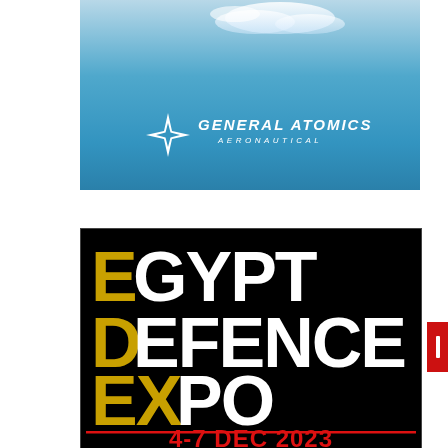[Figure (logo): General Atomics Aeronautical advertisement banner with blue sky and ocean background, white GA logo mark (four-pointed star/cross shape) and white italic text GENERAL ATOMICS AERONAUTICAL]
[Figure (illustration): Egypt Defence Expo (EDEX) advertisement on black background. Large stylized text: E GYPT / D EFENCE / EX PO where E, D, EX are in gold/yellow and the rest is white. Red horizontal rule and red text '4-7 DEC 2023' at bottom. Small X close button top right.]